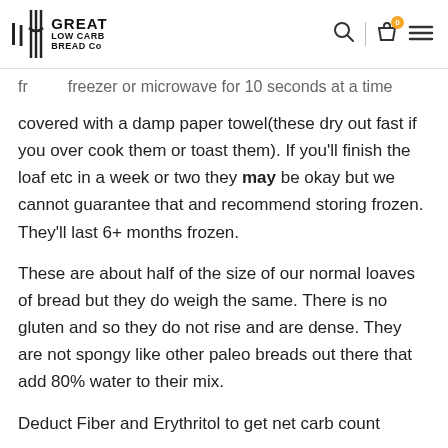Great Low Carb Bread Co
freezer or microwave for 10 seconds at a time covered with a damp paper towel(these dry out fast if you over cook them or toast them). If you'll finish the loaf etc in a week or two they may be okay but we cannot guarantee that and recommend storing frozen. They'll last 6+ months frozen.
These are about half of the size of our normal loaves of bread but they do weigh the same. There is no gluten and so they do not rise and are dense. They are not spongy like other paleo breads out there that add 80% water to their mix.
Deduct Fiber and Erythritol to get net carb count